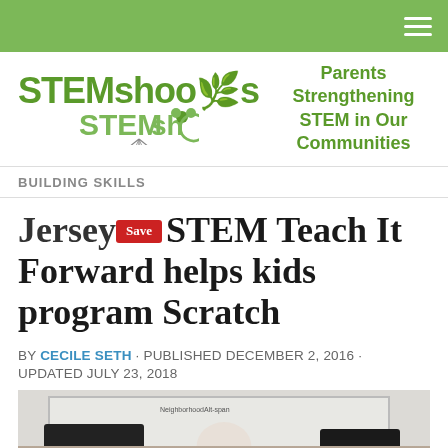STEMshoots — Parents Strengthening STEM in Our Communities
BUILDING SKILLS
JerseySTEM Teach It Forward helps kids program Scratch
BY CECILE SETH · PUBLISHED DECEMBER 2, 2016 · UPDATED JULY 23, 2018
[Figure (photo): Children working on laptops in a classroom, viewed from behind, with a whiteboard in the background]